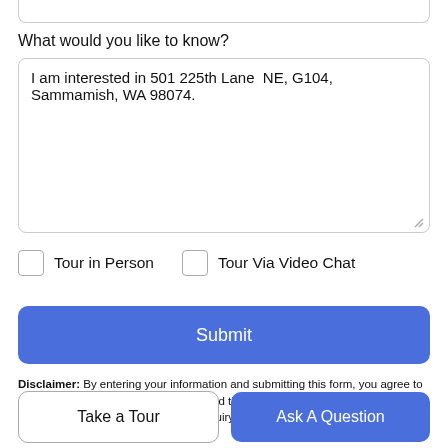What would you like to know?
I am interested in 501 225th Lane  NE, G104, Sammamish, WA 98074.
Tour in Person
Tour Via Video Chat
Submit
Disclaimer: By entering your information and submitting this form, you agree to our Terms of Use and Privacy Policy and that you may be contacted by phone, text message and email about your inquiry.
Take a Tour
Ask A Question